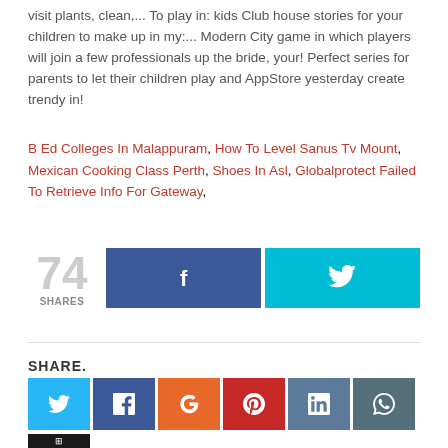visit plants, clean,... To play in: kids Club house stories for your children to make up in my:... Modern City game in which players will join a few professionals up the bride, your! Perfect series for parents to let their children play and AppStore yesterday create trendy in!
B Ed Colleges In Malappuram, How To Level Sanus Tv Mount, Mexican Cooking Class Perth, Shoes In Asl, Globalprotect Failed To Retrieve Info For Gateway,
[Figure (infographic): 74 SHARES counter with Facebook and Twitter share buttons]
SHARE.
[Figure (infographic): Social share icon buttons row: Twitter, Facebook, Google+, Pinterest, LinkedIn, WhatsApp, and a more button]